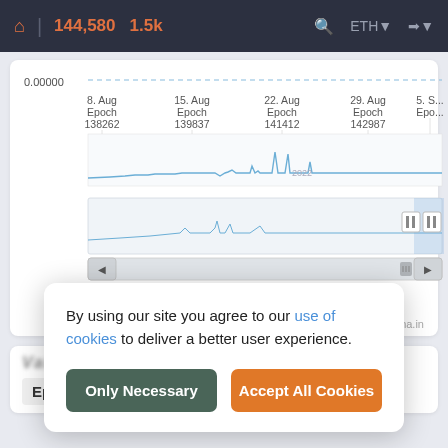144,580  1.5k  ETH
[Figure (continuous-plot): Daily Income line chart showing income from 8. Aug Epoch 138262 through 5. Sep (Epoch truncated), with a dashed horizontal reference line at 0.00000, and a minimap navigator below. The line stays near zero with occasional spikes, largest around late August near 2022 label.]
Daily Income
beaconcha.in
By using our site you agree to our use of cookies to deliver a better user experience.
Only Necessary
Accept All Cookies